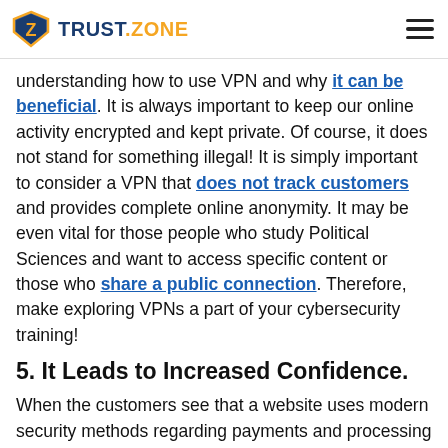TRUST.ZONE
understanding how to use VPN and why it can be beneficial. It is always important to keep our online activity encrypted and kept private. Of course, it does not stand for something illegal! It is simply important to consider a VPN that does not track customers and provides complete online anonymity. It may be even vital for those people who study Political Sciences and want to access specific content or those who share a public connection. Therefore, make exploring VPNs a part of your cybersecurity training!
5. It Leads to Increased Confidence.
When the customers see that a website uses modern security methods regarding payments and processing of their personal data, it makes them feel much more confident. According to statistical data, over 70% of business customers believe that the companies they